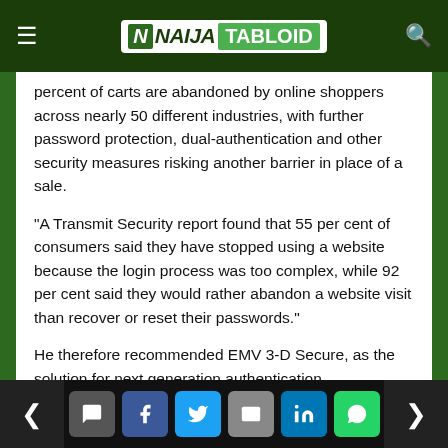NAIJA TABLOID
percent of carts are abandoned by online shoppers across nearly 50 different industries, with further password protection, dual-authentication and other security measures risking another barrier in place of a sale.
“A Transmit Security report found that 55 per cent of consumers said they have stopped using a website because the login process was too complex, while 92 per cent said they would rather abandon a website visit than recover or reset their passwords.”
He therefore recommended EMV 3-D Secure, as the solution for next generation authentication.
Navigation and social share bar